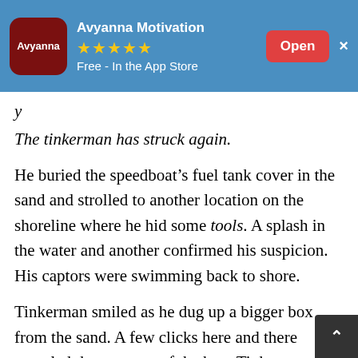[Figure (screenshot): App Store banner advertisement for 'Avyanna Motivation' app. Blue background with red logo square on left showing 'Avyanna' text, five gold stars rating, 'Free - In the App Store' text, and a red 'Open' button on the right with an X close button.]
y
The tinkerman has struck again.
He buried the speedboat’s fuel tank cover in the sand and strolled to another location on the shoreline where he hid some tools. A splash in the water and another confirmed his suspicion. His captors were swimming back to shore.
Tinkerman smiled as he dug up a bigger box from the sand. A few clicks here and there revealed the contents of the box. Tinkerman took the largest of the tools. Afterward, he waltzes back to the rock mound and sat down patiently. He watched for a while as his captors struggled against the sea’s currents, wading desperately